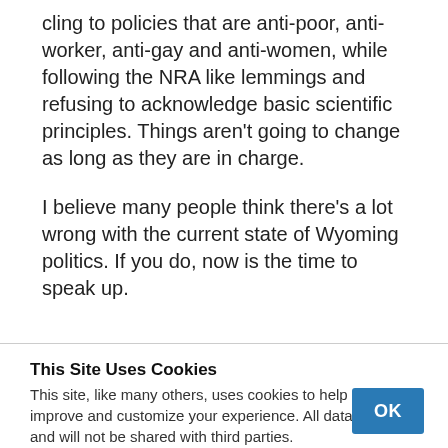cling to policies that are anti-poor, anti-worker, anti-gay and anti-women, while following the NRA like lemmings and refusing to acknowledge basic scientific principles. Things aren't going to change as long as they are in charge.
I believe many people think there's a lot wrong with the current state of Wyoming politics. If you do, now is the time to speak up.
This Site Uses Cookies
This site, like many others, uses cookies to help us improve and customize your experience. All data is private and will not be shared with third parties.